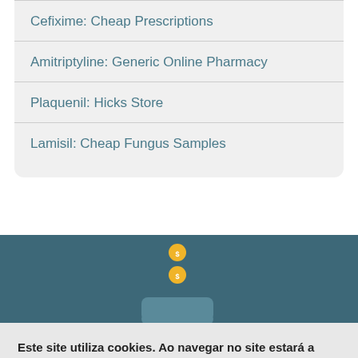Cefixime: Cheap Prescriptions
Amitriptyline: Generic Online Pharmacy
Plaquenil: Hicks Store
Lamisil: Cheap Fungus Samples
[Figure (illustration): Teal/dark blue background section with yellow coins floating above a hand silhouette, suggesting a pharmacy or money/savings theme]
Este site utiliza cookies. Ao navegar no site estará a consentir a sua utilização.
Aceito
Mais informações